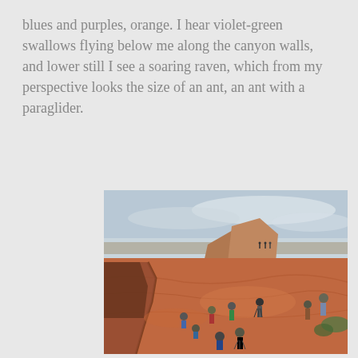blues and purples, orange. I hear violet-green swallows flying below me along the canyon walls, and lower still I see a soaring raven, which from my perspective looks the size of an ant, an ant with a paraglider.
[Figure (photo): Outdoor photograph of people standing and sitting on red sandstone canyon rim, with a rocky butte in the background and a cloudy sky. Several tourists with cameras and tripods are visible on the red rock surface near the canyon edge.]